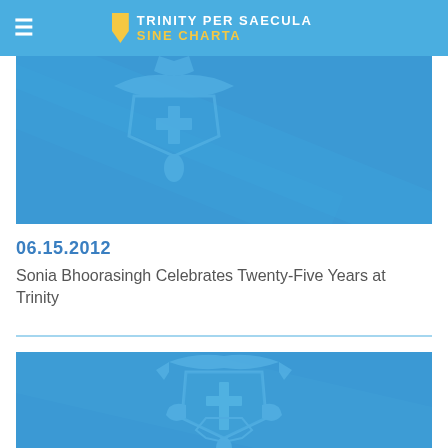TRINITY PER SAECULA SINE CHARTA
[Figure (illustration): Blue banner with Trinity college crest/shield watermark (partial, top portion)]
06.15.2012
Sonia Bhoorasingh Celebrates Twenty-Five Years at Trinity
[Figure (illustration): Blue banner with Trinity college crest/shield logo centered on blue background]